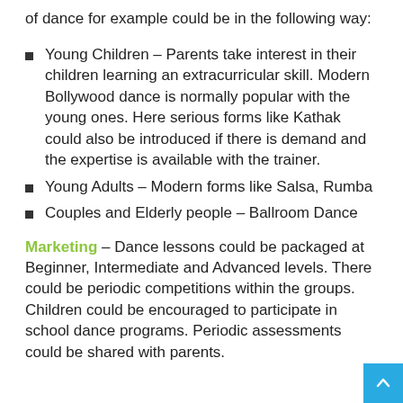of dance for example could be in the following way:
Young Children – Parents take interest in their children learning an extracurricular skill. Modern Bollywood dance is normally popular with the young ones. Here serious forms like Kathak could also be introduced if there is demand and the expertise is available with the trainer.
Young Adults – Modern forms like Salsa, Rumba
Couples and Elderly people – Ballroom Dance
Marketing – Dance lessons could be packaged at Beginner, Intermediate and Advanced levels. There could be periodic competitions within the groups. Children could be encouraged to participate in school dance programs. Periodic assessments could be shared with parents.